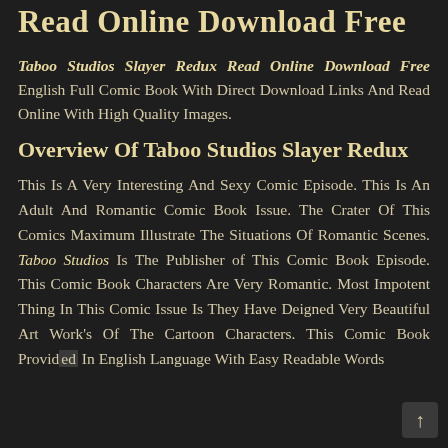Read Online Download Free
Taboo Studios Slayer Redux Read Online Download Free English Full Comic Book With Direct Download Links And Read Online With High Quality Images.
Overview Of Taboo Studios Slayer Redux
This Is A Very Interesting And Sexy Comic Episode. This Is An Adult And Romantic Comic Book Issue. The Crater Of This Comics Maximum Illustrate The Situations Of Romantic Scenes. Taboo Studios Is The Publisher of This Comic Book Episode. This Comic Book Characters Are Very Romantic. Most Impotent Thing In This Comic Issue Is They Have Deigned Very Beautiful Art Work's Of The Cartoon Characters. This Comic Book Provided In English Language With Easy Readable Words.